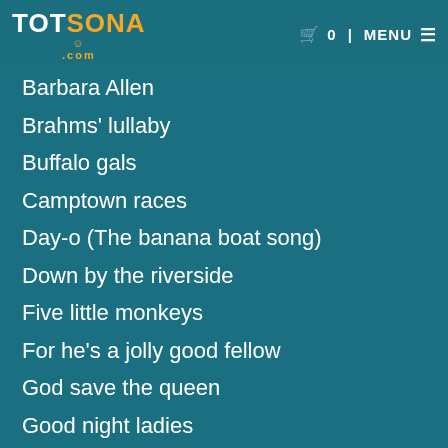TOTSONA .com | 0 | MENU
Barbara Allen
Brahms' lullaby
Buffalo gals
Camptown races
Day-o (The banana boat song)
Down by the riverside
Five little monkeys
For he's a jolly good fellow
God save the queen
Good night ladies
Advertència d´ús de cookies:
"Utilitzem cookies pròpies i de tercers a fi de poder oferir els nostres serveis i poder mostrar-li des del nostre lloc web publicitat basada amb les seves preferències i generada a partir de les seves pautes de navegació. Si continua navegant considerem que accepta el seu ús. En tot cas pot obtenir més informació sobre les cookies utilitzades en l'apartat relatiu a "Politica de cookies".